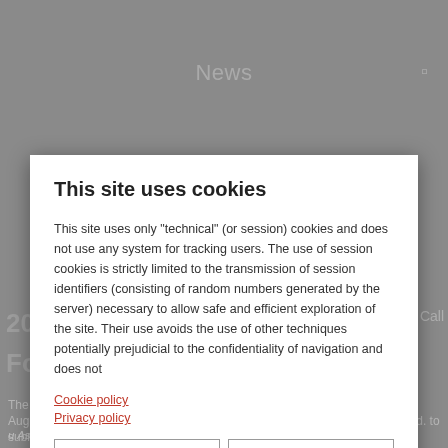News
This site uses cookies
This site uses only "technical" (or session) cookies and does not use any system for tracking users. The use of session cookies is strictly limited to the transmission of session identifiers (consisting of random numbers generated by the server) necessary to allow safe and efficient exploration of the site. Their use avoids the use of other techniques potentially prejudicial to the confidentiality of navigation and does not
Cookie policy
Privacy policy
Accept cookie | Accetta tutti i cookie | Reject all cookies | Ignore!